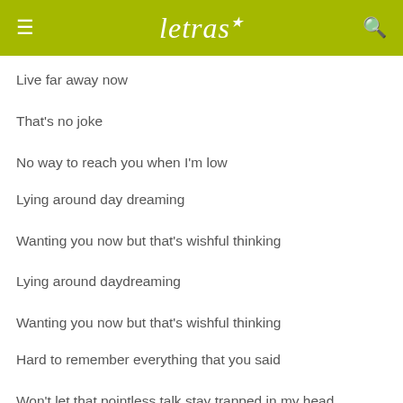letras
Live far away now
That's no joke
No way to reach you when I'm low
Lying around day dreaming
Wanting you now but that's wishful thinking
Lying around daydreaming
Wanting you now but that's wishful thinking
Hard to remember everything that you said
Won't let that pointless talk stay trapped in my head
Then I got to know you, oh false hopes rule
Those days are gone now, you left too soon